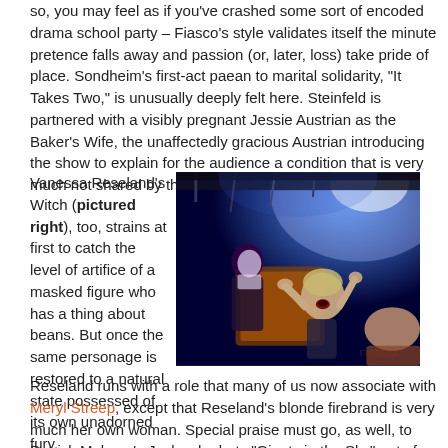so, you may feel as if you've crashed some sort of encoded drama school party – Fiasco's style validates itself the minute pretence falls away and passion (or, later, loss) take pride of place. Sondheim's first-act paean to marital solidarity, "It Takes Two," is unusually deeply felt here. Steinfeld is partnered with a visibly pregnant Jessie Austrian as the Baker's Wife, the unaffectedly gracious Austrian introducing the show to explain for the audience a condition that is very much not shared by the character she plays.
Vanessa Reseland's Witch (pictured right), too, strains at first to catch the level of artifice of a masked figure who has a thing about beans. But once the same personage is restored to a natural state possessed of its own unadorned fury, Reseland runs with a role that many of us now associate with Meryl Streep, except that Reseland's blonde firebrand is very much her own woman. Special praise must go, as well, to Patrick Mulryan's Jack, who bats "Giants in the Sky" out of the proverbial park, and to Claire Karpen's expert klutz of a Cinderella: she's a Mary Louise Parker
[Figure (photo): A theatrical stage photo showing performers in dramatic blue and orange stage lighting, one figure gesturing expressively]